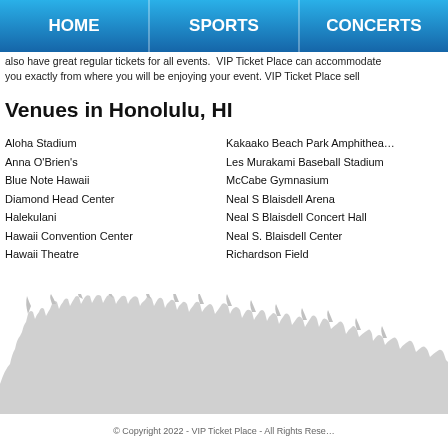HOME | SPORTS | CONCERTS
also have great regular tickets for all events. VIP Ticket Place can accommodate you exactly from where you will be enjoying your event. VIP Ticket Place sell
Venues in Honolulu, HI
Aloha Stadium
Anna O'Brien's
Blue Note Hawaii
Diamond Head Center
Halekulani
Hawaii Convention Center
Hawaii Theatre
Kakaako Beach Park Amphithea…
Les Murakami Baseball Stadium
McCabe Gymnasium
Neal S Blaisdell Arena
Neal S Blaisdell Concert Hall
Neal S. Blaisdell Center
Richardson Field
[Figure (illustration): Silhouette of a crowd of people with hands raised, light gray color]
© Copyright 2022 - VIP Ticket Place - All Rights Rese…